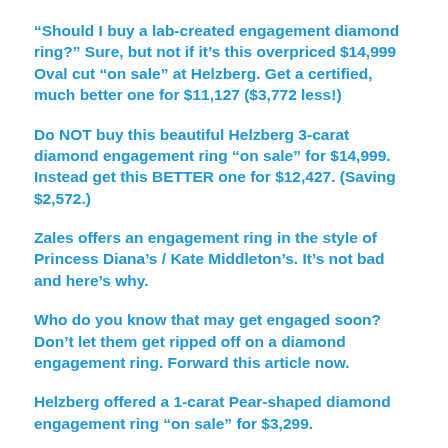“Should I buy a lab-created engagement diamond ring?” Sure, but not if it’s this overpriced $14,999 Oval cut “on sale” at Helzberg. Get a certified, much better one for $11,127 ($3,772 less!)
Do NOT buy this beautiful Helzberg 3-carat diamond engagement ring “on sale” for $14,999. Instead get this BETTER one for $12,427. (Saving $2,572.)
Zales offers an engagement ring in the style of Princess Diana’s / Kate Middleton’s. It’s not bad and here’s why.
Who do you know that may get engaged soon? Don’t let them get ripped off on a diamond engagement ring. Forward this article now.
Helzberg offered a 1-carat Pear-shaped diamond engagement ring “on sale” for $3,299.